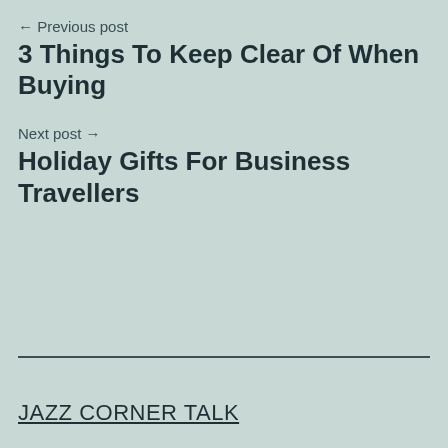← Previous post
3 Things To Keep Clear Of When Buying
Next post →
Holiday Gifts For Business Travellers
JAZZ CORNER TALK